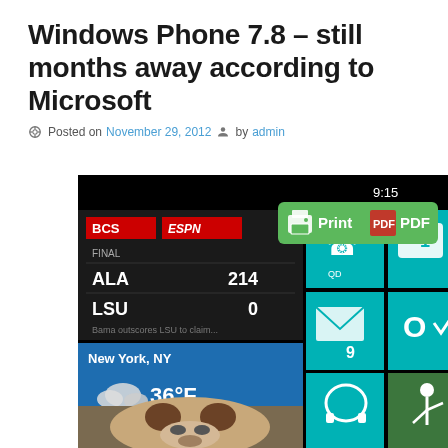Windows Phone 7.8 – still months away according to Microsoft
Posted on November 29, 2012 by admin
[Figure (screenshot): Windows Phone 7.8 screenshot showing live tiles including BCS/ESPN sports score (ALA 214, LSU 0), weather (New York, NY, 36°F, cloudy), phone (3), messaging (1), mail (9), Outlook, Skype, music, golf app tiles, and a bulldog photo at the bottom. Time shown: 9:15]
[Figure (other): Green Print PDF button with printer icon and PDF icon]